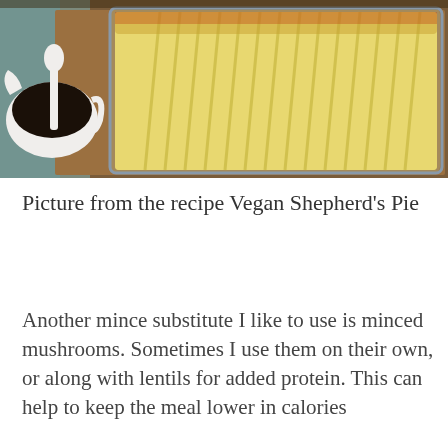[Figure (photo): A casserole dish of Vegan Shepherd's Pie topped with ridged mashed potato, beside a white gravy boat filled with dark sauce, on a wooden board with a blue cloth background.]
Picture from the recipe Vegan Shepherd's Pie
Another mince substitute I like to use is minced mushrooms. Sometimes I use them on their own, or along with lentils for added protein. This can help to keep the meal lower in calories